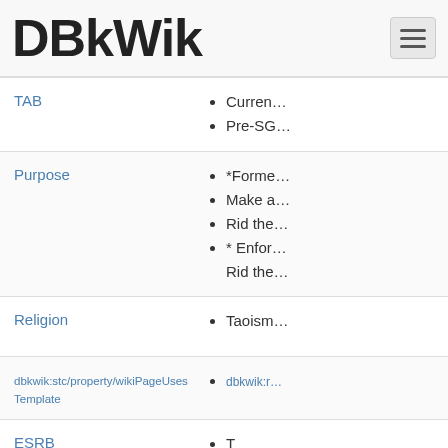DBkWik
| Property | Values |
| --- | --- |
| TAB | Current…
Pre-SG… |
| Purpose | *Forme…
Make a…
Rid the…
* Enfor…
Rid the… |
| Religion | Taoism… |
| dbkwik:stc/property/wikiPageUsesTemplate | dbkwik:r… |
| ESRB | T |
| datefrom | 2011-0… |